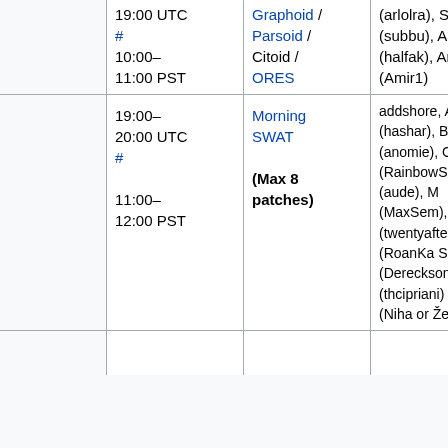|  | 19:00 UTC # 10:00–11:00 PST | Graphoid / Parsoid / Citoid / ORES | (arlolra), Su (subbu), Aaron (halfak), Amir (Amir1) |
|  | 19:00–20:00 UTC # 11:00–12:00 PST | Morning SWAT (Max 8 patches) | addshore, Ant (hashar), Brad (anomie), Cha (RainbowSpri Katie (aude), M (MaxSem), Muk (twentyafter Roan (RoanKa Sébastien (Dereckson), T (thcipriani) Niharika (Niha or Željko (zelj |
|  |  |  |  |